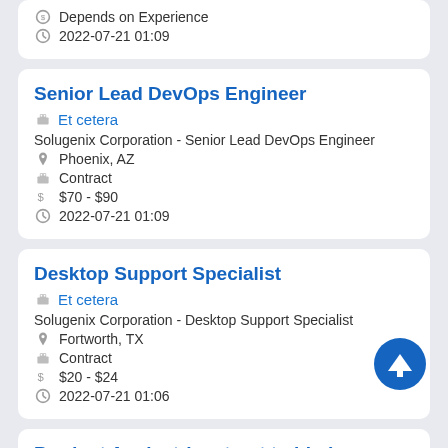Depends on Experience
2022-07-21 01:09
Senior Lead DevOps Engineer
Et cetera
Solugenix Corporation - Senior Lead DevOps Engineer
Phoenix, AZ
Contract
$70 - $90
2022-07-21 01:09
Desktop Support Specialist
Et cetera
Solugenix Corporation - Desktop Support Specialist
Fortworth, TX
Contract
$20 - $24
2022-07-21 01:06
Product Analyst (contract to hire)
Et cetera